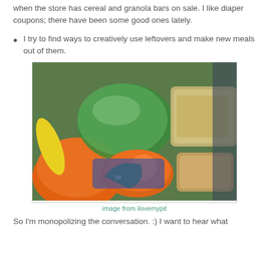when the store has cereal and granola bars on sale. I like diaper coupons; there have been some good ones lately.
I try to find ways to creatively use leftovers and make new meals out of them.
[Figure (photo): Grocery items including bags of green vegetables, oranges, grains/oats, and other food products arranged together]
image from ilovemypit
So I'm monopolizing the conversation. :) I want to hear what